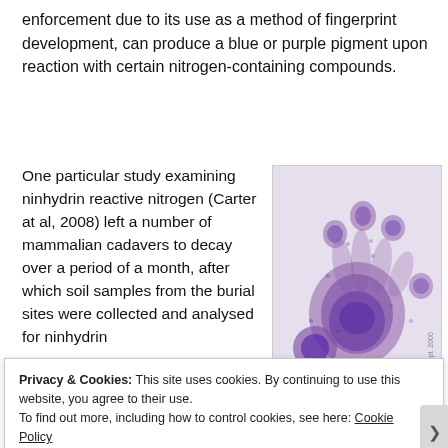enforcement due to its use as a method of fingerprint development, can produce a blue or purple pigment upon reaction with certain nitrogen-containing compounds.
One particular study examining ninhydrin reactive nitrogen (Carter at al, 2008) left a number of mammalian cadavers to decay over a period of a month, after which soil samples from the burial sites were collected and analysed for ninhydrin
[Figure (photo): Close-up photograph of a purple/violet handprint developed using ninhydrin reagent, showing fingerprint ridges and palm detail on a light background. Dated Sept. 2000.]
Privacy & Cookies: This site uses cookies. By continuing to use this website, you agree to their use.
To find out more, including how to control cookies, see here: Cookie Policy